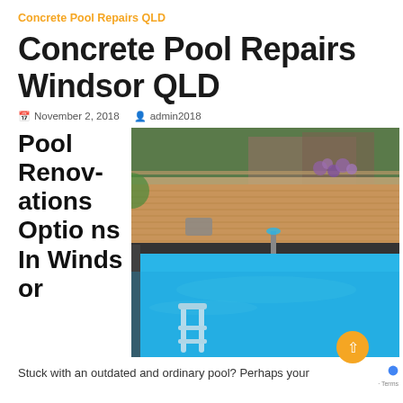Concrete Pool Repairs QLD
Concrete Pool Repairs Windsor QLD
November 2, 2018   admin2018
Pool Renovations Options In Windsor
[Figure (photo): Outdoor concrete pool with wooden deck surround, pool ladder in foreground, water feature/fountain, lush garden background with purple flowers]
Stuck with an outdated and ordinary pool? Perhaps your